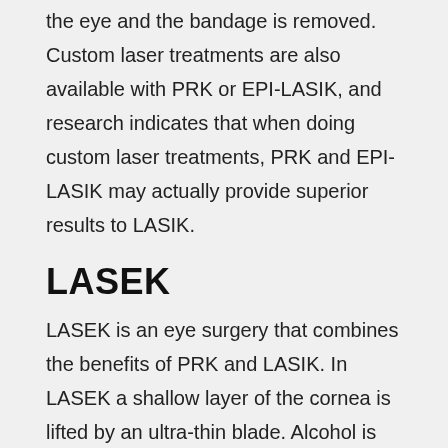the eye and the bandage is removed. Custom laser treatments are also available with PRK or EPI-LASIK, and research indicates that when doing custom laser treatments, PRK and EPI-LASIK may actually provide superior results to LASIK.
LASEK
LASEK is an eye surgery that combines the benefits of PRK and LASIK. In LASEK a shallow layer of the cornea is lifted by an ultra-thin blade. Alcohol is then used to further loosen this layer and, after this layer is loosened and lifted, a laser is used to reshape the remaining surface of the cornea. Because the layer of